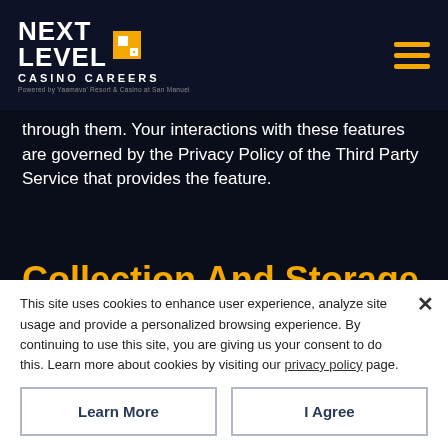[Figure (logo): Next Level Casino Careers logo — white bold text with orange square icon, on dark navy background]
through them. Your interactions with these features are governed by the Privacy Policy of the Third Party Service that provides the feature.
Collection And Storage
Use In The United States
Our websites, mobile apps, and services are operated from within the United States, and by submitting your Personal Information to us, through our websites, mobile apps, or by other means, you consent to the transfer, collection, usage, storage
This site uses cookies to enhance user experience, analyze site usage and provide a personalized browsing experience. By continuing to use this site, you are giving us your consent to do this. Learn more about cookies by visiting our privacy policy page.